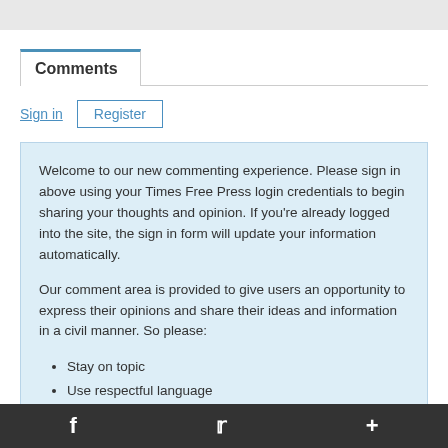Comments
Sign in
Register
Welcome to our new commenting experience. Please sign in above using your Times Free Press login credentials to begin sharing your thoughts and opinion. If you're already logged into the site, the sign in form will update your information automatically.

Our comment area is provided to give users an opportunity to express their opinions and share their ideas and information in a civil manner. So please:
Stay on topic
Use respectful language
f  t  +